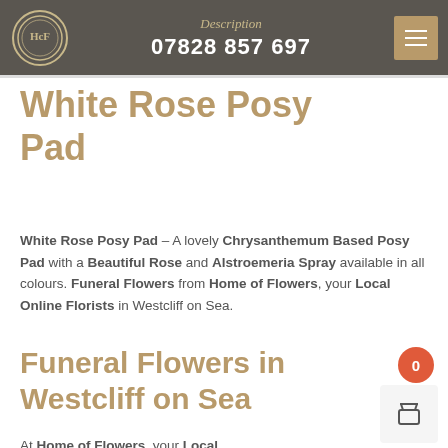Description 07828 857 697
White Rose Posy Pad
White Rose Posy Pad – A lovely Chrysanthemum Based Posy Pad with a Beautiful Rose and Alstroemeria Spray available in all colours. Funeral Flowers from Home of Flowers, your Local Online Florists in Westcliff on Sea.
Funeral Flowers in Westcliff on Sea
At Home of Flowers, your Local